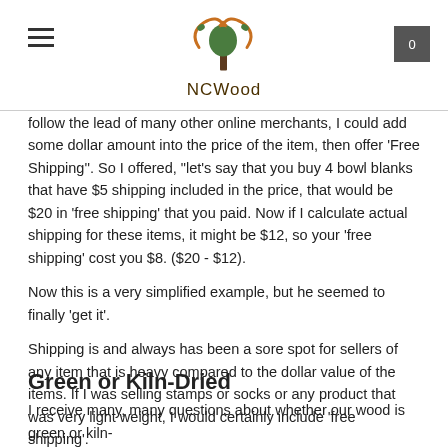NCWood
follow the lead of many other online merchants, I could add some dollar amount into the price of the item, then offer 'Free Shipping''. So I offered, "let's say that you buy 4 bowl blanks that have $5 shipping included in the price, that would be $20 in 'free shipping' that you paid. Now if I calculate actual shipping for these items, it might be $12, so your 'free shipping' cost you $8. ($20 - $12).
Now this is a very simplified example, but he seemed to finally 'get it'.
Shipping is and always has been a sore spot for sellers of any item that is heavy compared to the dollar value of the items. If I was selling stamps or socks or any product that was very light weight, I would certainly include 'free shipping'.
Tweet
Green or Kiln-Dried
I receive many, many questions about whether our wood is green or kiln-